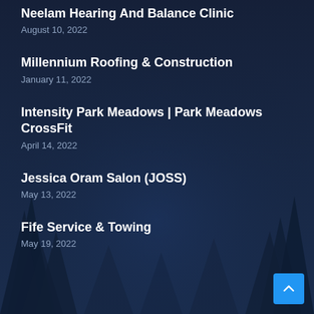Neelam Hearing And Balance Clinic
August 10, 2022
Millennium Roofing & Construction
January 11, 2022
Intensity Park Meadows | Park Meadows CrossFit
April 14, 2022
Jessica Oram Salon (JOSS)
May 13, 2022
Fife Service & Towing
May 19, 2022